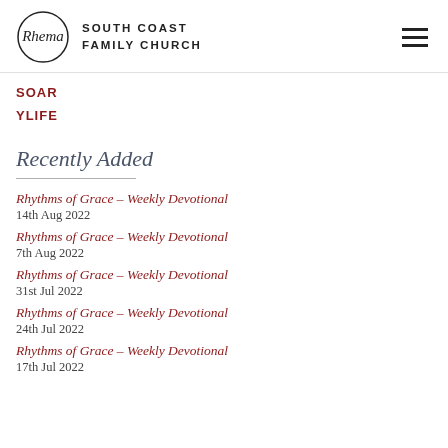Rhema South Coast Family Church
SOAR
YLIFE
Recently Added
Rhythms of Grace – Weekly Devotional
14th Aug 2022
Rhythms of Grace – Weekly Devotional
7th Aug 2022
Rhythms of Grace – Weekly Devotional
31st Jul 2022
Rhythms of Grace – Weekly Devotional
24th Jul 2022
Rhythms of Grace – Weekly Devotional
17th Jul 2022